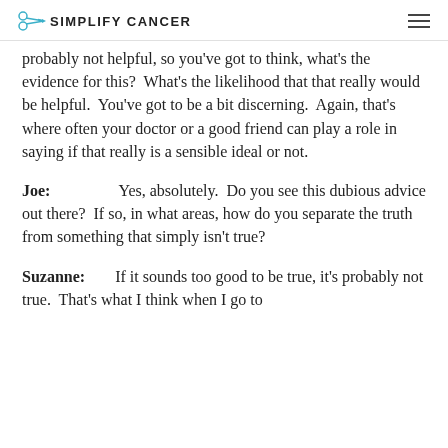SIMPLIFY CANCER
probably not helpful, so you've got to think, what's the evidence for this?  What's the likelihood that that really would be helpful.  You've got to be a bit discerning.  Again, that's where often your doctor or a good friend can play a role in saying if that really is a sensible ideal or not.
Joe:          Yes, absolutely.  Do you see this dubious advice out there?  If so, in what areas, how do you separate the truth from something that simply isn't true?
Suzanne:        If it sounds too good to be true, it's probably not true.  That's what I think when I go to